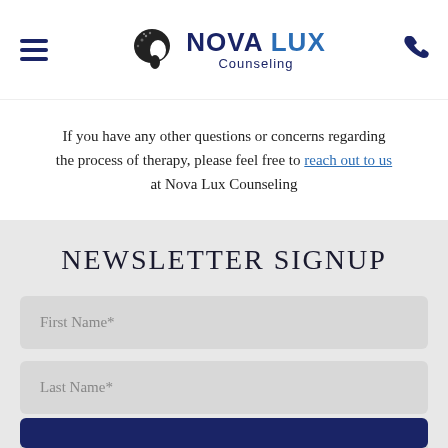Nova Lux Counseling — navigation header with logo and phone icon
If you have any other questions or concerns regarding the process of therapy, please feel free to reach out to us at Nova Lux Counseling
NEWSLETTER SIGNUP
First Name*
Last Name*
Email Address*